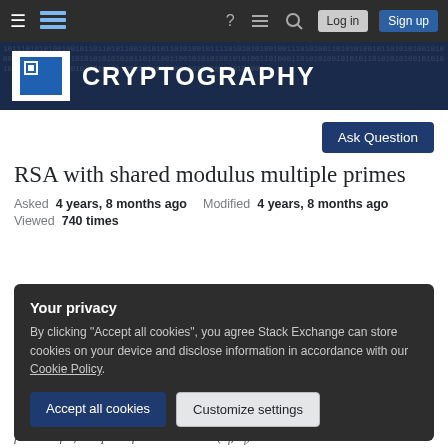Cryptography Stack Exchange navigation bar with Log in and Sign up buttons
[Figure (logo): Cryptography Stack Exchange site logo and banner with binary background]
Ask Question
RSA with shared modulus multiple primes
Asked 4 years, 8 months ago   Modified 4 years, 8 months ago
Viewed 740 times
Your privacy
By clicking "Accept all cookies", you agree Stack Exchange can store cookies on your device and disclose information in accordance with our Cookie Policy.
Accept all cookies   Customize settings
factors of n, computes for each user c: (eᵢ, dᵢ) and